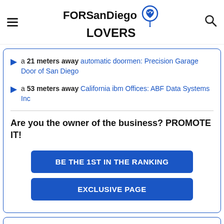FORSanDiego LOVERS
a 21 meters away automatic doormen: Precision Garage Door of San Diego
a 53 meters away California ibm Offices: ABF Data Systems Inc
Are you the owner of the business? PROMOTE IT!
BE THE 1ST IN THE RANKING
EXCLUSIVE PAGE
12. Micro Tool &